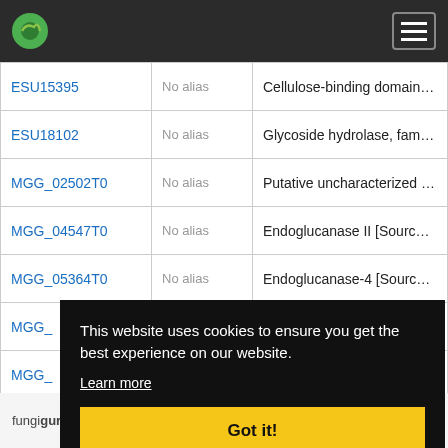fungiguru navigation header
| ID | Alias | Description |
| --- | --- | --- |
| ESU15395 | No alias | Cellulose-binding domain, fungal |
| ESU18102 | No alias | Glycoside hydrolase, family 61 |
| MGG_02502T0 | No alias | Putative uncharacterized protein... |
| MGG_04547T0 | No alias | Endoglucanase II [Source:UniProtKB... |
| MGG_05364T0 | No alias | Endoglucanase-4 [Source:UniProtKB... |
| MGG_... | No alias |  |
| MGG_... | No alias |  |
| MGG_... | No alias |  |
| MGG_... | No alias |  |
| MGG_... | No alias |  |
This website uses cookies to ensure you get the best experience on our website. Learn more Got it!
fungiguru  About  Contact  Disclaimer  Privacy policy